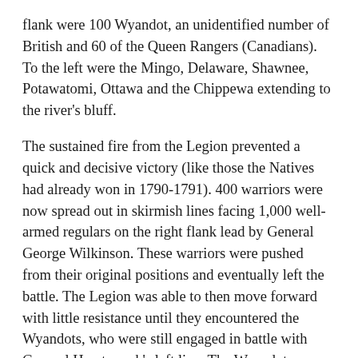flank were 100 Wyandot, an unidentified number of British and 60 of the Queen Rangers (Canadians). To the left were the Mingo, Delaware, Shawnee, Potawatomi, Ottawa and the Chippewa extending to the river's bluff.
The sustained fire from the Legion prevented a quick and decisive victory (like those the Natives had already won in 1790-1791). 400 warriors were now spread out in skirmish lines facing 1,000 well- armed regulars on the right flank lead by General George Wilkinson. These warriors were pushed from their original positions and eventually left the battle. The Legion was able to then move forward with little resistance until they encountered the Wyandots, who were still engaged in battle with General Hamtramck's left line. The Wyandots were the last to leave the battlefield—forced out by superior numbers and several hundred militia who began to close in on their flank. They continued to fight, killing two more officers but suffering devastating losses. Wyandot Chief Crane along with 8 other principle chiefs and 20 warriors were killed alongside 6 British